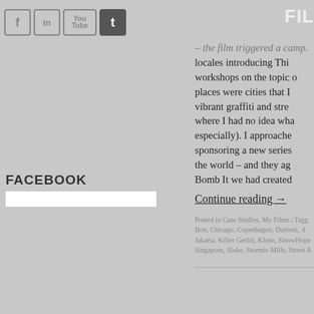Social media icons (Facebook, LinkedIn, YouTube, Twitter) and FIL navigation label
FACEBOOK
– the film triggered a camp... locales introducing Thi... workshops on the topic o... places were cities that I... vibrant graffiti and stre... where I had no idea wha... especially). I approached... sponsoring a new series... the world – and they ag... Bomb It we had created ...
Continue reading →
Posted in Case Studies, My Films | Tagg... Bon, Chicago, Copenhagen, Darbotz, d... Jakarta, Killer Gerbil, Klone, KnowHope... Singapore, Sloke, Stormie Mills, Street A...